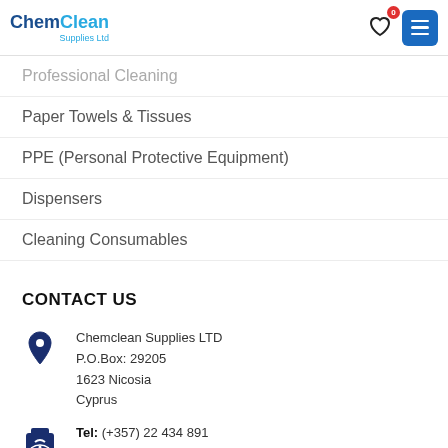ChemClean Supplies Ltd
Professional Cleaning
Paper Towels & Tissues
PPE (Personal Protective Equipment)
Dispensers
Cleaning Consumables
CONTACT US
Chemclean Supplies LTD
P.O.Box: 29205
1623 Nicosia
Cyprus
Tel: (+357) 22 434 891
Fax: (+357) 22 434 903
info@chemclean.com.cy